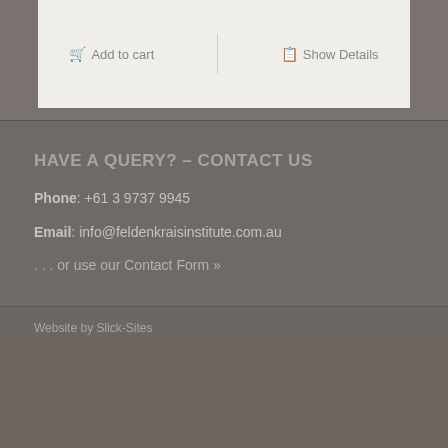Add to cart   Show Details
HAVE A QUERY? – CONTACT US
Phone: +61 3 9737 9945
Email: info@feldenkraisinstitute.com.au
. . . or use our Contact Form »
Website by Slick-Sites